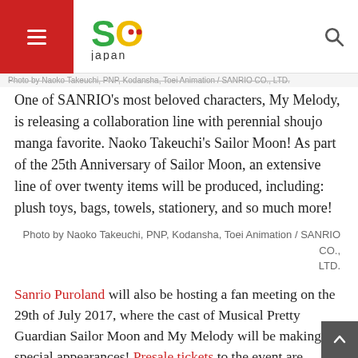SO Japan
Photo by Naoko Takeuchi, PNP, Kodansha, Toei Animation / SANRIO CO., LTD.
One of SANRIO's most beloved characters, My Melody, is releasing a collaboration line with perennial shoujo manga favorite. Naoko Takeuchi's Sailor Moon! As part of the 25th Anniversary of Sailor Moon, an extensive line of over twenty items will be produced, including: plush toys, bags, towels, stationery, and so much more!
Photo by Naoko Takeuchi, PNP, Kodansha, Toei Animation / SANRIO CO., LTD.
Sanrio Puroland will also be hosting a fan meeting on the 29th of July 2017, where the cast of Musical Pretty Guardian Sailor Moon and My Melody will be making special appearances! Presale tickets to the event are available from the 17th of June 2017 exclusively for Sailor Moon Fan Club Pretty Guardians members, after which general sales will commence via the Sanrio Puroland ticketing counter from 2nd July 2017 onwards.